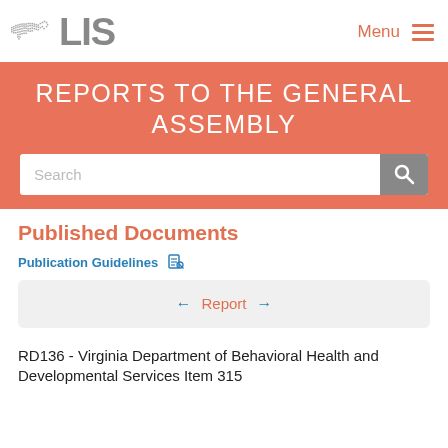LIS — Menu
REPORTS TO THE GENERAL ASSEMBLY
Published Documents
Publication Guidelines
← Report →
RD136 - Virginia Department of Behavioral Health and Developmental Services Item 315